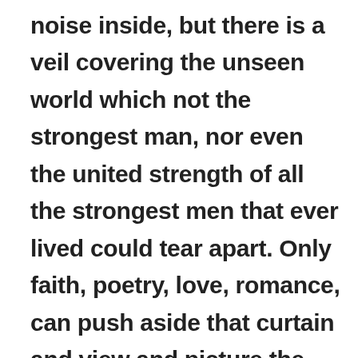and see what makes the noise inside, but there is a veil covering the unseen world which not the strongest man, nor even the united strength of all the strongest men that ever lived could tear apart. Only faith, poetry, love, romance, can push aside that curtain and view and picture the supernal beauty and glory beyond. Is it all real? Ah, Virginia, in all this world there is nothing else real and abiding.